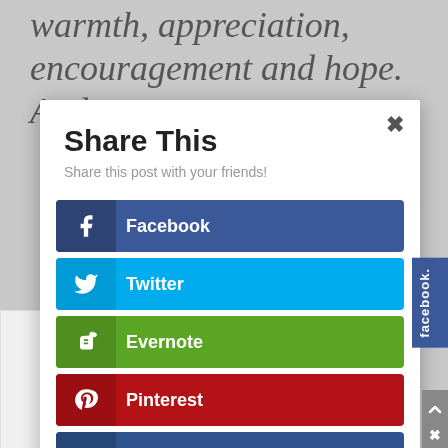warmth, appreciation, encouragement and hope. And
Share This
Share this post with your friends!
Facebook
Twitter
Evernote
Pinterest
Myspace
Blogger